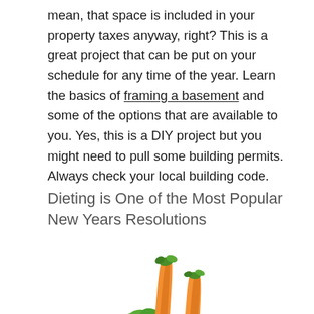mean, that space is included in your property taxes anyway, right? This is a great project that can be put on your schedule for any time of the year. Learn the basics of framing a basement and some of the options that are available to you. Yes, this is a DIY project but you might need to pull some building permits. Always check your local building code.
Dieting is One of the Most Popular New Years Resolutions
[Figure (photo): A photo of fresh vegetables including carrots, a tomato, celery, and a red bell pepper, with a measuring tape wrapped around them, suggesting a diet or healthy eating theme.]